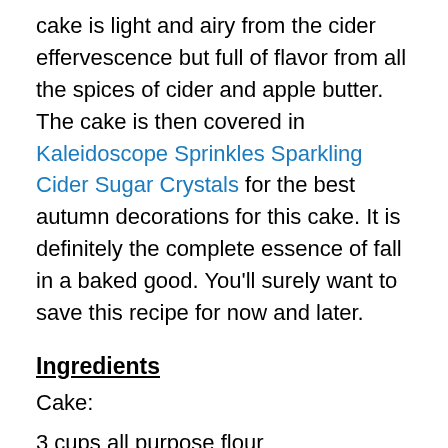cake is light and airy from the cider effervescence but full of flavor from all the spices of cider and apple butter. The cake is then covered in Kaleidoscope Sprinkles Sparkling Cider Sugar Crystals for the best autumn decorations for this cake. It is definitely the complete essence of fall in a baked good. You'll surely want to save this recipe for now and later.
Ingredients
Cake:
3 cups all purpose flour
1 ½ tsp. baking soda
½ tsp. salt